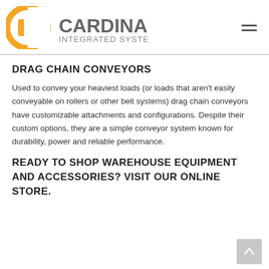[Figure (logo): Cardinal Integrated Systems logo — orange circular C shape on left, gray text CARDINAL INTEGRATED SYSTEMS on right]
DRAG CHAIN CONVEYORS
Used to convey your heaviest loads (or loads that aren't easily conveyable on rollers or other belt systems) drag chain conveyors have customizable attachments and configurations. Despite their custom options, they are a simple conveyor system known for durability, power and reliable performance.
READY TO SHOP WAREHOUSE EQUIPMENT AND ACCESSORIES? VISIT OUR ONLINE STORE.